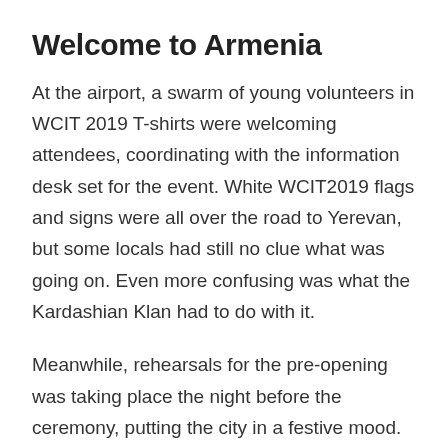Welcome to Armenia
At the airport, a swarm of young volunteers in WCIT 2019 T-shirts were welcoming attendees, coordinating with the information desk set for the event. White WCIT2019 flags and signs were all over the road to Yerevan, but some locals had still no clue what was going on. Even more confusing was what the Kardashian Klan had to do with it.
Meanwhile, rehearsals for the pre-opening was taking place the night before the ceremony, putting the city in a festive mood. But on the day of the concert, high-level security measures were taken, with the Republic square full of military and National